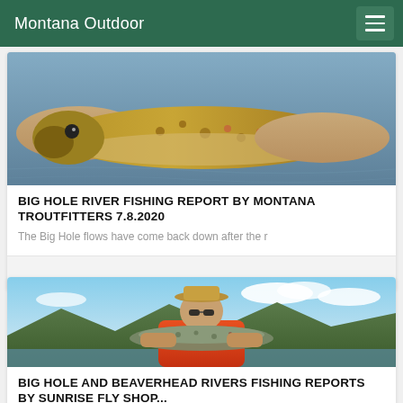Montana Outdoor
[Figure (photo): Hands holding a brown trout over water]
BIG HOLE RIVER FISHING REPORT BY MONTANA TROUTFITTERS 7.8.2020
The Big Hole flows have come back down after the r
[Figure (photo): Man in orange jacket and hat holding a large trout with mountains and river in background]
BIG HOLE AND BEAVERHEAD RIVERS FISHING REPORTS BY SUNRISE FLY SHOP...